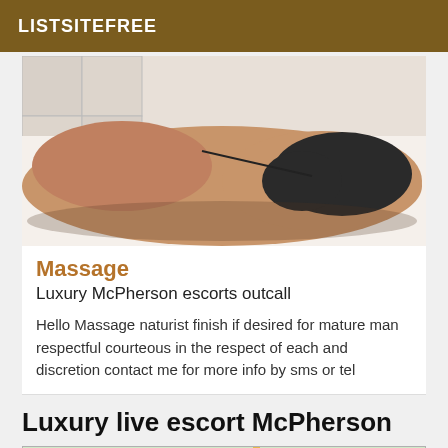LISTSITEFREE
[Figure (photo): Photo of a person lying down in swimwear/lingerie in a bathroom setting]
Massage
Luxury McPherson escorts outcall
Hello Massage naturist finish if desired for mature man respectful courteous in the respect of each and discretion contact me for more info by sms or tel
Luxury live escort McPherson
[Figure (map): Map preview showing McPherson area streets]